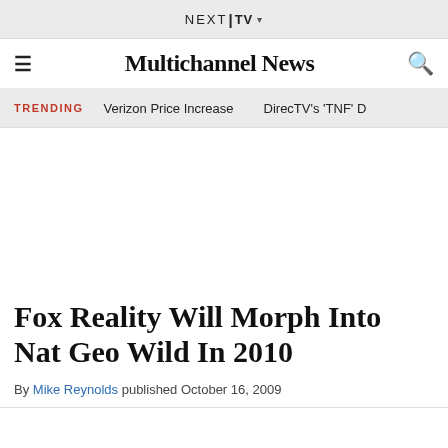NEXT|TV ▾
Multichannel News
TRENDING  Verizon Price Increase  DirecTV's 'TNF' D
Fox Reality Will Morph Into Nat Geo Wild In 2010
By Mike Reynolds published October 16, 2009